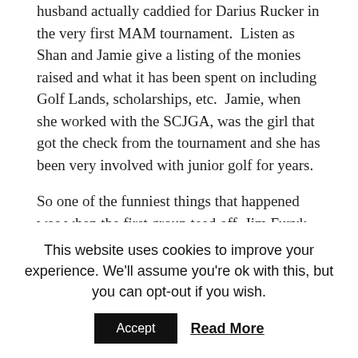husband actually caddied for Darius Rucker in the very first MAM tournament.  Listen as Shan and Jamie give a listing of the monies raised and what it has been spent on including Golf Lands, scholarships, etc.  Jamie, when she worked with the SCJGA, was the girl that got the check from the tournament and she has been very involved with junior golf for years.

So one of the funniest things that happened was when the first group teed off, Jim Furyk was their professional, and the announcer did ask Jim what he did over the weekend.  A collective gasp came from the crowd as we all knew he missed the cut at the Masters but he took it well and proceeded to hit a very long ball down the center of the fairway.  The
This website uses cookies to improve your experience. We'll assume you're ok with this, but you can opt-out if you wish.
Accept   Read More